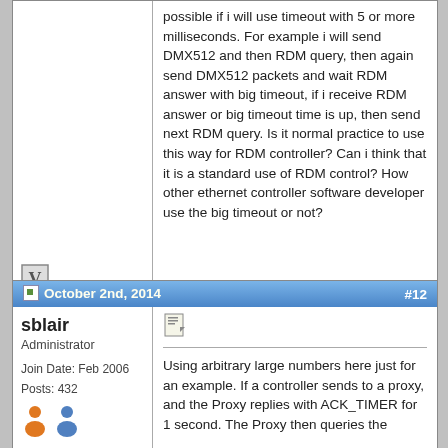possible if i will use timeout with 5 or more milliseconds. For example i will send DMX512 and then RDM query, then again send DMX512 packets and wait RDM answer with big timeout, if i receive RDM answer or big timeout time is up, then send next RDM query. Is it normal practice to use this way for RDM controller? Can i think that it is a standard use of RDM control? How other ethernet controller software developer use the big timeout or not?
October 2nd, 2014  #12
sblair
Administrator
Join Date: Feb 2006
Posts: 432
Using arbitrary large numbers here just for an example. If a controller sends to a proxy, and the Proxy replies with ACK_TIMER for 1 second. The Proxy then queries the